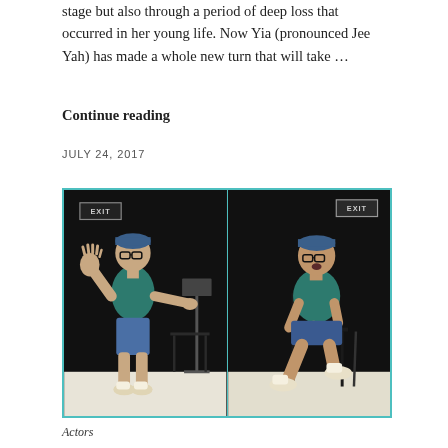stage but also through a period of deep loss that occurred in her young life. Now Yia (pronounced Jee Yah) has made a whole new turn that will take …
Continue reading
JULY 24, 2017
[Figure (photo): Two side-by-side photos of a performer on a dark stage. On the left, a person in a teal t-shirt and blue shorts with glasses and a headband stands with one hand raised open. On the right, the same person sits on a stool, leaning forward with hands clasped, mouth open as if speaking. Both frames show EXIT signs in the background.]
Actors